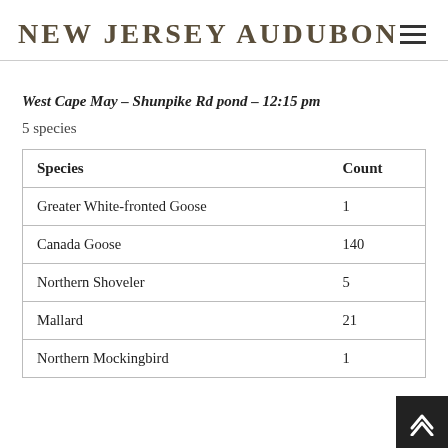NEW JERSEY AUDUBON
West Cape May – Shunpike Rd pond – 12:15 pm
5 species
| Species | Count |
| --- | --- |
| Greater White-fronted Goose | 1 |
| Canada Goose | 140 |
| Northern Shoveler | 5 |
| Mallard | 21 |
| Northern Mockingbird | 1 |